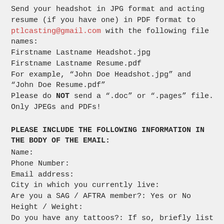Send your headshot in JPG format and acting resume (if you have one) in PDF format to ptlcasting@gmail.com with the following file names:
Firstname Lastname Headshot.jpg
Firstname Lastname Resume.pdf
For example, “John Doe Headshot.jpg” and “John Doe Resume.pdf”
Please do NOT send a “.doc” or “.pages” file. Only JPEGs and PDFs!
PLEASE INCLUDE THE FOLLOWING INFORMATION IN THE BODY OF THE EMAIL:
Name:
Phone Number:
Email address:
City in which you currently live:
Are you a SAG / AFTRA member?: Yes or No
Height / Weight:
Do you have any tattoos?: If so, briefly list its size and location.
Are you willing to be clean-shaven or grow some facial hair: Yes or No
What is your availability on Saturdays, Mondays...